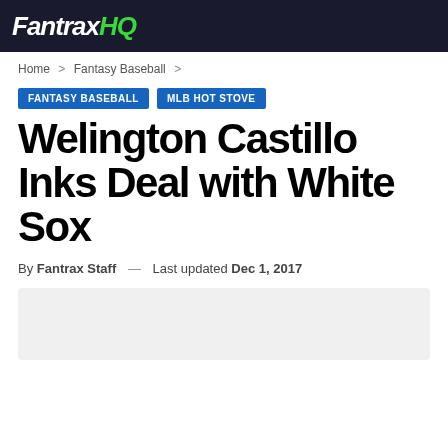Fantrax HQ
Home > Fantasy Baseball >
FANTASY BASEBALL   MLB HOT STOVE
Welington Castillo Inks Deal with White Sox
By Fantrax Staff — Last updated Dec 1, 2017